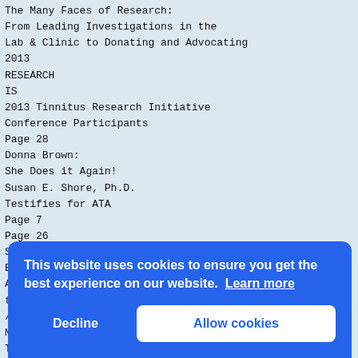The Many Faces of Research:
From Leading Investigations in the
Lab & Clinic to Donating and Advocating
2013
RESEARCH
IS
2013 Tinnitus Research Initiative
Conference Participants
Page 28
Donna Brown:
She Does it Again!
Susan E. Shore, Ph.D.
Testifies for ATA
Page 7
Page 26
SU
E
Advertisement — ATA does not endorse or recommend any
tinnitus products or treatments.
// ExpEriEncE a nEw,
MOre PersOnaLiZeD
Tinn
sOLu
Few
it s
to h
pers
Our
Mult
tack
pate
you
customize a sound stimulus designed to
[Figure (screenshot): Cookie consent banner overlay with blue background. Text reads 'This website uses cookies to ensure you get the best experience on our website. Learn more'. Two buttons: 'Decline' and 'Allow cookies'.]